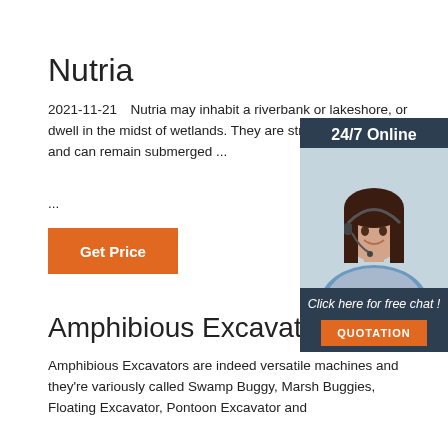Nutria
2021-11-21  Nutria may inhabit a riverbank or lakeshore, or dwell in the midst of wetlands. They are strong swimmers and can remain submerged ...
...
[Figure (other): Orange 'Get Price' button]
[Figure (photo): Sidebar widget with '24/7 Online' header, photo of a woman with headset, 'Click here for free chat!' text, and orange QUOTATION button on dark background]
Amphibious Excavator
Amphibious Excavators are indeed versatile machines and they're variously called Swamp Buggy, Marsh Buggies, Floating Excavator, Pontoon Excavator and